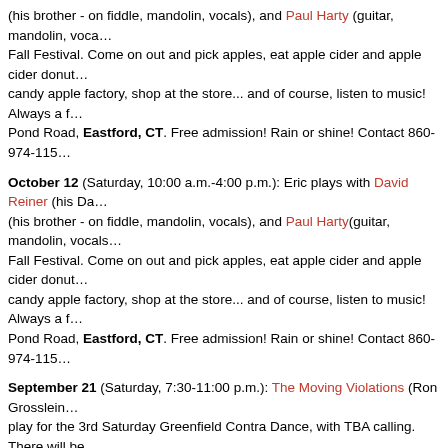(his brother - on fiddle, mandolin, vocals), and Paul Harty (guitar, mandolin, vocals). Fall Festival. Come on out and pick apples, eat apple cider and apple cider donuts, candy apple factory, shop at the store... and of course, listen to music! Always a f... Pond Road, Eastford, CT. Free admission! Rain or shine! Contact 860-974-115...
October 12 (Saturday, 10:00 a.m.-4:00 p.m.): Eric plays with David Reiner (his Da... (his brother - on fiddle, mandolin, vocals), and Paul Harty(guitar, mandolin, vocals... Fall Festival. Come on out and pick apples, eat apple cider and apple cider donut... candy apple factory, shop at the store... and of course, listen to music! Always a f... Pond Road, Eastford, CT. Free admission! Rain or shine! Contact 860-974-115...
September 21 (Saturday, 7:30-11:00 p.m.): The Moving Violations (Ron Grosslein... play for the 3rd Saturday Greenfield Contra Dance, with TBA calling. There will be... 8:00 p.m. and a contra dance from 8:00-11:00 p.m. The Guiding Star Grange, 401... MA. Entry to the dance is $10-12, or $8 for students.
August 17 (Saturday, 7:30-11:00 p.m.): The Moving Violations (Ron Grosslein, Va... for the 3rd Saturday Greenfield Contra Dance, with TBA calling. There will be a n... p.m. and a contra dance from 8:00-11:00 p.m. The Guiding Star Grange, 401 Cha... to the dance is $10-12, or $8 for students.
July 20 (Saturday, 7:30-11:00 p.m.): The Moving Violations (Ron Grosslein, Van K... the 3rd Saturday Greenfield Contra Dance, with TBA calling. There will be a newc... p.m. and a contra dance from 8:00-11:00 p.m. The Guiding Star Grange, 401 Cha... to the dance is $10-12, or $8 for students.
June 20 (Thursday, 7:30-10:30 p.m.): The Moving Violations play for the Contra P... Contras series presented by NEFFA, at the Concord Scout House, 72 Walden St...